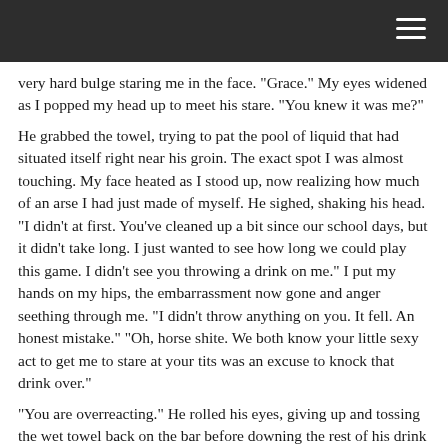very hard bulge staring me in the face. “Grace.” My eyes widened as I popped my head up to meet his stare. “You knew it was me?”
He grabbed the towel, trying to pat the pool of liquid that had situated itself right near his groin. The exact spot I was almost touching. My face heated as I stood up, now realizing how much of an arse I had just made of myself. He sighed, shaking his head. “I didn’t at first. You’ve cleaned up a bit since our school days, but it didn’t take long. I just wanted to see how long we could play this game. I didn’t see you throwing a drink on me.” I put my hands on my hips, the embarrassment now gone and anger seething through me. “I didn’t throw anything on you. It fell. An honest mistake.” “Oh, horse shite. We both know your little sexy act to get me to stare at your tits was an excuse to knock that drink over.”
“You are overreacting.” He rolled his eyes, giving up and tossing the wet towel back on the bar before downing the rest of his drink and setting the empty glass back where he found it. “I’m just calling it a night. Say ‘hi’ to my brother when he gets here, will ya?” Before he could leave me standing there looking like a fool, I grabbed my purse, not wanting to